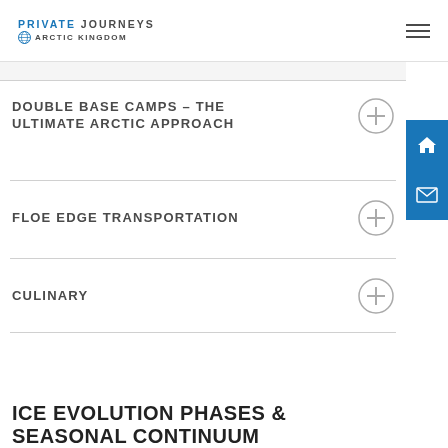PRIVATE JOURNEYS | ARCTIC KINGDOM
DOUBLE BASE CAMPS – THE ULTIMATE ARCTIC APPROACH
FLOE EDGE TRANSPORTATION
CULINARY
ICE EVOLUTION PHASES & SEASONAL CONTINUUM